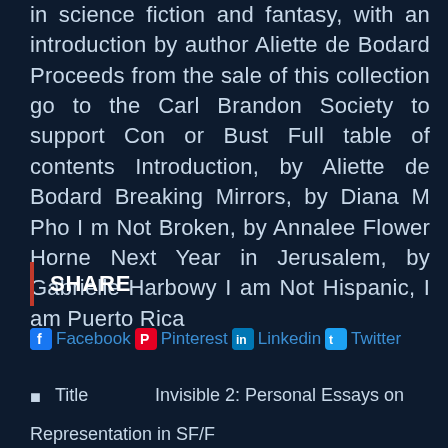in science fiction and fantasy, with an introduction by author Aliette de Bodard Proceeds from the sale of this collection go to the Carl Brandon Society to support Con or Bust Full table of contents Introduction, by Aliette de Bodard Breaking Mirrors, by Diana M Pho I m Not Broken, by Annalee Flower Horne Next Year in Jerusalem, by Gabrielle Harbowy I am Not Hispanic, I am Puerto Rica
SHARE
Facebook  Pinterest  Linkedin  Twitter
Title    Invisible 2: Personal Essays on Representation in SF/F